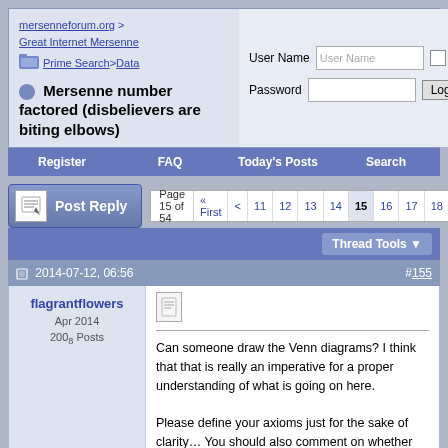mersenneforum.org > Great Internet Mersenne Prime Search > Data
Mersenne number factored (disbelievers are biting elbows)
User Name | Password | Remember Me? | Log in
Register  FAQ  Today's Posts  Search
Post Reply  Page 15 of 54  « First  <  11  12  13  14  15  16  17  18  19
Thread Tools
2014-07-12, 06:56  #155
flagrantflowers
Apr 2014
200₈ Posts
Can someone draw the Venn diagrams? I think that that is really an imperative for a proper understanding of what is going on here.

Please define your axioms just for the sake of clarity… You should also comment on whether incompleteness does or does not apply.